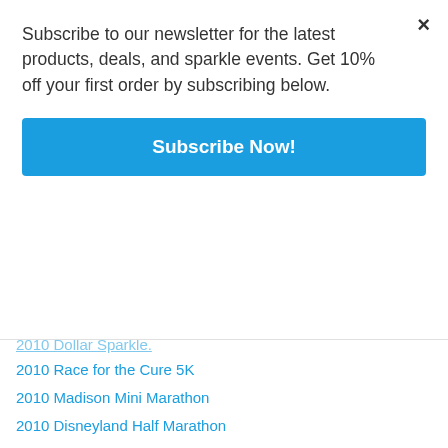Subscribe to our newsletter for the latest products, deals, and sparkle events. Get 10% off your first order by subscribing below.
Subscribe Now!
2010 Race for the Cure 5K
2010 Madison Mini Marathon
2010 Disneyland Half Marathon
2010 Virginia Beach Rock 'n Roll Marathon
Categories
Get to Know #teamsparkle
Running Costumes
- Princess Running Costumes
- Running Costume Guides